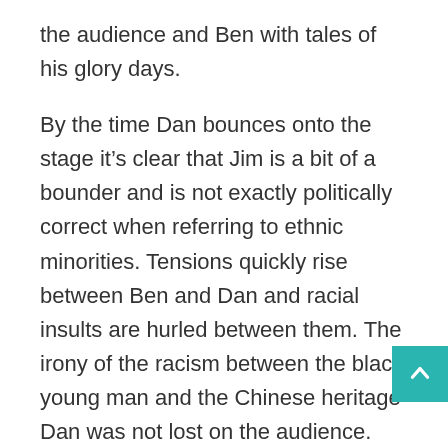the audience and Ben with tales of his glory days.
By the time Dan bounces onto the stage it’s clear that Jim is a bit of a bounder and is not exactly politically correct when referring to ethnic minorities. Tensions quickly rise between Ben and Dan and racial insults are hurled between them. The irony of the racism between the black young man and the Chinese heritage Dan was not lost on the audience.
Dan is told by Jim that people “like him” will never be the hero of the wrestling match and gives him a cape to wear with the caption “Yellow Peril” emblazoned on the back. Jim’s racism begins with a light touch, “bant” if you will, until towards the interval he addresses the audience and talks about it all just being jokes and only language and not meant to be offensive.